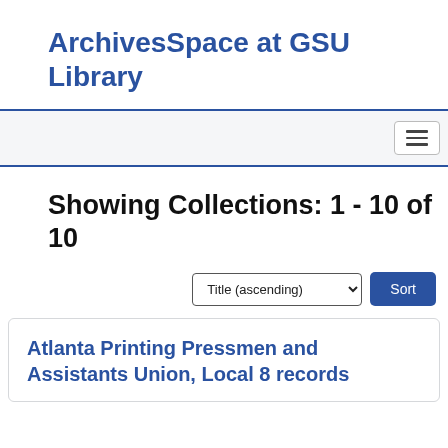ArchivesSpace at GSU Library
Showing Collections: 1 - 10 of 10
Title (ascending) Sort
Atlanta Printing Pressmen and Assistants Union, Local 8 records